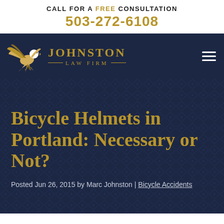CALL FOR A FREE CONSULTATION
503-272-6108
[Figure (logo): Johnston Law Firm logo with eagle illustration and gold firm name text on dark navy background]
Bicycle Helmets in Portland: Necessary or Not?
Posted Jun 26, 2015 by Marc Johnston | Bicycle Accidents